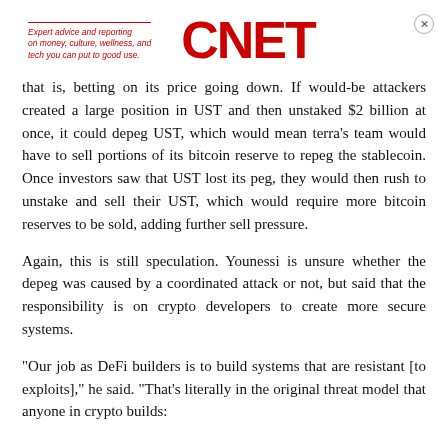Expert advice and reporting on money, culture, wellness, and tech you can put to good use. CNET
that is, betting on its price going down. If would-be attackers created a large position in UST and then unstaked $2 billion at once, it could depeg UST, which would mean terra's team would have to sell portions of its bitcoin reserve to repeg the stablecoin. Once investors saw that UST lost its peg, they would then rush to unstake and sell their UST, which would require more bitcoin reserves to be sold, adding further sell pressure.
Again, this is still speculation. Younessi is unsure whether the depeg was caused by a coordinated attack or not, but said that the responsibility is on crypto developers to create more secure systems.
"Our job as DeFi builders is to build systems that are resistant [to exploits]," he said. "That's literally in the original threat model that anyone in crypto builds: